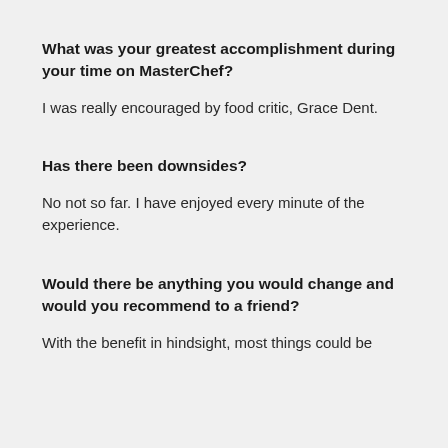What was your greatest accomplishment during your time on MasterChef?
I was really encouraged by food critic, Grace Dent.
Has there been downsides?
No not so far. I have enjoyed every minute of the experience.
Would there be anything you would change and would you recommend to a friend?
With the benefit in hindsight, most things could be